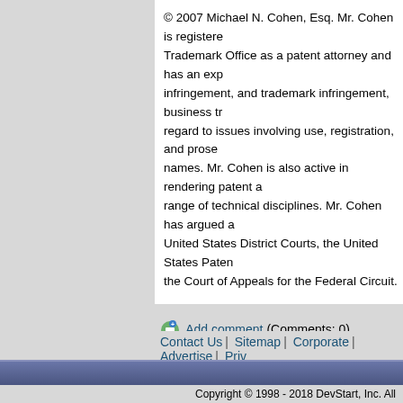© 2007 Michael N. Cohen, Esq. Mr. Cohen is registered in the United States Patent and Trademark Office as a patent attorney and has an experience in patent infringement, and trademark infringement, business transactions with regard to issues involving use, registration, and prosecution of domain names. Mr. Cohen is also active in rendering patent advice across a broad range of technical disciplines. Mr. Cohen has argued and tried cases in the United States District Courts, the United States Patent Office, and the Court of Appeals for the Federal Circuit.
No portion of this article may be copied, retransmitted or republished without express written approval of the author.
This article is not intended as a substitute for legal advice. Specific facts can make the outcome different than would be anticipated by your general understanding of the issues and the laws.
[Figure (infographic): Social sharing icons row: Delicious, Reddit, DNHour, Digg]
Add comment (Comments: 0)
Contact Us | Sitemap | Corporate | Advertise | Priv...
Copyright © 1998 - 2018 DevStart, Inc. All...